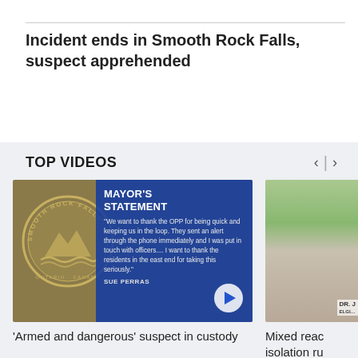Incident ends in Smooth Rock Falls, suspect apprehended
TOP VIDEOS
[Figure (screenshot): Video thumbnail showing Smooth Rock Falls mayor's statement on a blue overlay with the town seal, with a play button]
'Armed and dangerous' suspect in custody
[Figure (photo): Partially visible video thumbnail of a building exterior]
Mixed reac isolation ru